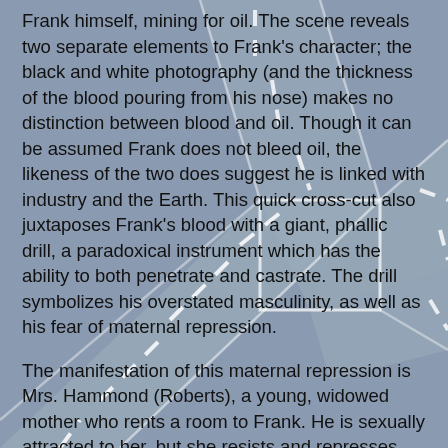Frank himself, mining for oil. The scene reveals two separate elements to Frank's character; the black and white photography (and the thickness of the blood pouring from his nose) makes no distinction between blood and oil. Though it can be assumed Frank does not bleed oil, the likeness of the two does suggest he is linked with industry and the Earth. This quick cross-cut also juxtaposes Frank's blood with a giant, phallic drill, a paradoxical instrument which has the ability to both penetrate and castrate. The drill symbolizes his overstated masculinity, as well as his fear of maternal repression.
The manifestation of this maternal repression is Mrs. Hammond (Roberts), a young, widowed mother who rents a room to Frank. He is sexually attracted to her, but she resists and represses herself because of the death (and apparent suicide) of her husband. Frank is the 'return of the repressed' figure for her, but he also remains sexually repressed and frustrated due to her emotional coldness and sexual frigidity. (6) This is seen in the film after Frank has received a 1000 pound check for signing with an elite rugby team. He shows her the check and she states plainly, "It's very good…it's a bit
[Figure (illustration): Road/intersection illustration overlaid on the text as a background watermark-style graphic showing roads with dashed white lane markings on a grey surface.]